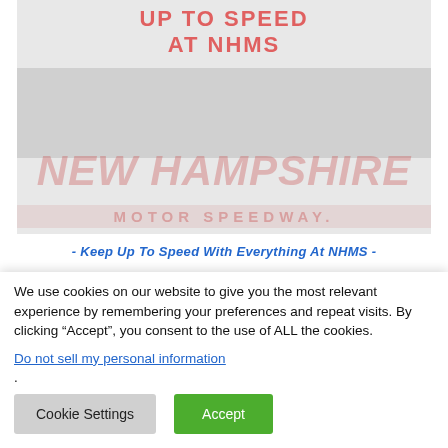[Figure (illustration): New Hampshire Motor Speedway promotional banner image showing race cars and text 'UP TO SPEED AT NHMS' at top, with 'NEW HAMPSHIRE' in large italic red letters and 'MOTOR SPEEDWAY' below, all faded/watermarked in light gray tones]
- Keep Up To Speed With Everything At NHMS -
We use cookies on our website to give you the most relevant experience by remembering your preferences and repeat visits. By clicking “Accept”, you consent to the use of ALL the cookies.
Do not sell my personal information.